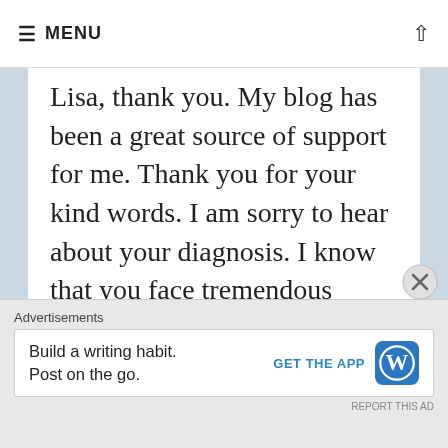≡ MENU
Lisa, thank you. My blog has been a great source of support for me. Thank you for your kind words. I am sorry to hear about your diagnosis. I know that you face tremendous challenges as well. Please keep in touch.
★ Like
REPLY
Advertisements
Build a writing habit. Post on the go. GET THE APP